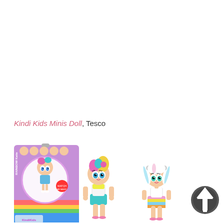Kindi Kids Minis Doll, Tesco
[Figure (photo): Product photo of Kindi Kids Minis Doll — a colorful toy doll package on the left showing a small doll with rainbow hair in a circular blister pack with the Kindi Kids branding, and two loose mini dolls in the center and right: one with pastel pink/teal/yellow hair and teal eyes, another with white pigtails and teal eyes wearing a rainbow skirt. A dark grey circular up-arrow icon appears at the far right.]